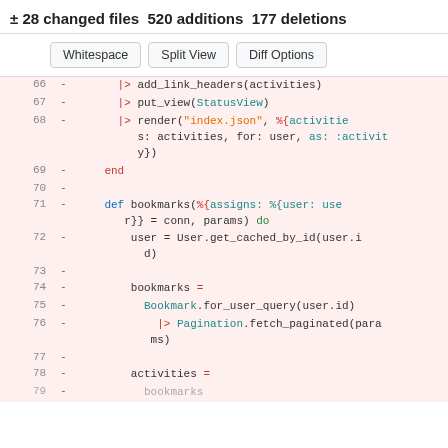± 28 changed files 520 additions 177 deletions
[Figure (screenshot): Diff viewer toolbar with Whitespace, Split View, and Diff Options buttons]
Code diff showing deleted lines 66-78 in an Elixir source file. Lines removed include add_link_headers, put_view, render, end, bookmarks function definition, User.get_cached_by_id, bookmarks assignment, Bookmark.for_user_query, Pagination.fetch_paginated, and activities assignment.